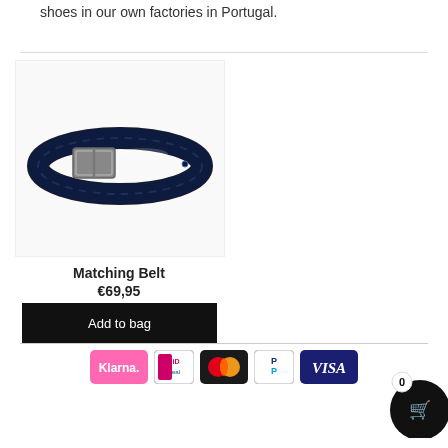shoes in our own factories in Portugal.
[Figure (photo): A dark navy/black crocodile-embossed leather belt with a silver rectangular buckle, coiled on a white background.]
Matching Belt
€69,95
Add to bag
[Figure (infographic): Payment method icons: Klarna, iDEAL, Mastercard, PayPal, VISA]
[Figure (other): Shopping cart button with badge showing 0]